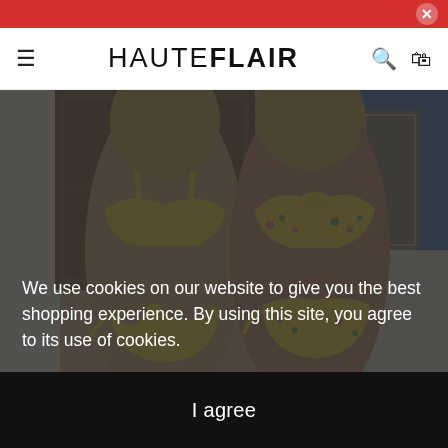HAUTEFLAIR
[Figure (photo): Two women wearing yellow bikinis in a Mediterranean-style setting. The left woman wears a solid yellow push-up bikini with side-tie bottoms, and the right woman wears a yellow floral print bikini with a bow top and tie-side bottoms.]
We use cookies on our website to give you the best shopping experience. By using this site, you agree to its use of cookies.
I agree